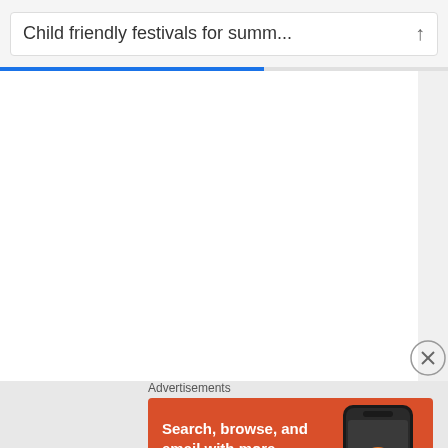Child friendly festivals for summ...
[Figure (screenshot): Mobile browser loading screen with white content area and progress bar]
Advertisements
[Figure (illustration): DuckDuckGo advertisement banner with orange background showing 'Search, browse, and email with more privacy. All in One Free App' with phone mockup and DuckDuckGo logo]